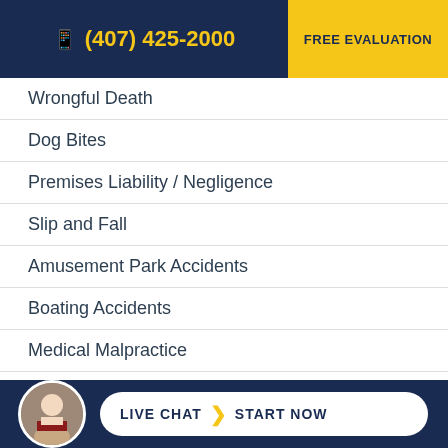(407) 425-2000 | FREE EVALUATION
Wrongful Death
Dog Bites
Premises Liability / Negligence
Slip and Fall
Amusement Park Accidents
Boating Accidents
Medical Malpractice
Nursing Home Abuse
Product Liability
LIVE CHAT  START NOW